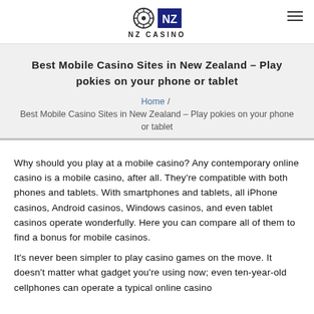NZ CASINO
Best Mobile Casino Sites in New Zealand – Play pokies on your phone or tablet
Home / Best Mobile Casino Sites in New Zealand – Play pokies on your phone or tablet
Why should you play at a mobile casino? Any contemporary online casino is a mobile casino, after all. They're compatible with both phones and tablets. With smartphones and tablets, all iPhone casinos, Android casinos, Windows casinos, and even tablet casinos operate wonderfully. Here you can compare all of them to find a bonus for mobile casinos.
It's never been simpler to play casino games on the move. It doesn't matter what gadget you're using now; even ten-year-old cellphones can operate a typical online casino